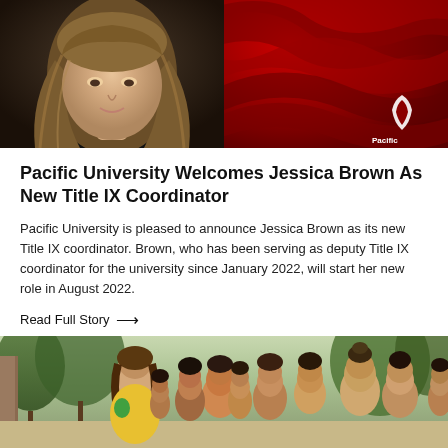[Figure (photo): Left: headshot of a woman with long wavy blonde-brown hair wearing a black top against a dark background. Right: Pacific University Oregon branded red background with swirling wave design and white logo.]
Pacific University Welcomes Jessica Brown As New Title IX Coordinator
Pacific University is pleased to announce Jessica Brown as its new Title IX coordinator. Brown, who has been serving as deputy Title IX coordinator for the university since January 2022, will start her new role in August 2022.
Read Full Story →
[Figure (photo): A crowd of students gathered outdoors on campus, with trees visible in the background.]